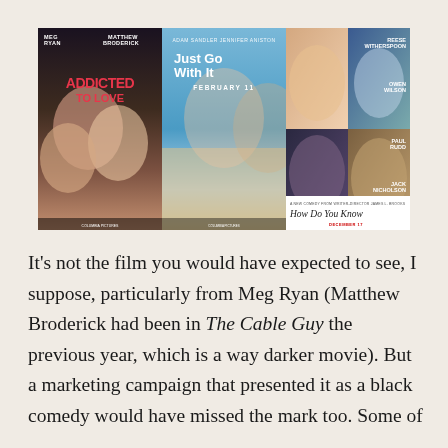[Figure (photo): Three movie posters side by side: 'Addicted to Love' (Meg Ryan, Matthew Broderick), 'Just Go With It' (Adam Sandler, Jennifer Aniston, February 11), and 'How Do You Know' (Reese Witherspoon, Owen Wilson, Paul Rudd, Jack Nicholson, December 17). A new comedy from writer-director James L. Brooks.]
It's not the film you would have expected to see, I suppose, particularly from Meg Ryan (Matthew Broderick had been in The Cable Guy the previous year, which is a way darker movie). But a marketing campaign that presented it as a black comedy would have missed the mark too. Some of